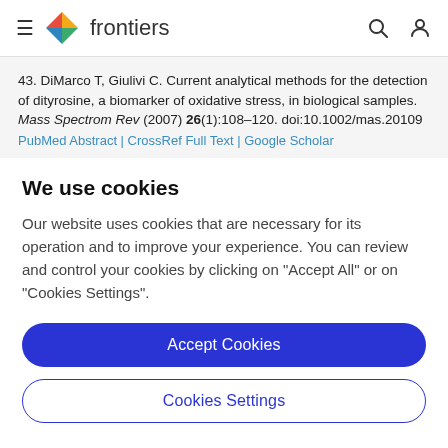frontiers
43. DiMarco T, Giulivi C. Current analytical methods for the detection of dityrosine, a biomarker of oxidative stress, in biological samples. Mass Spectrom Rev (2007) 26(1):108–120. doi:10.1002/mas.20109
PubMed Abstract | CrossRef Full Text | Google Scholar
We use cookies
Our website uses cookies that are necessary for its operation and to improve your experience. You can review and control your cookies by clicking on "Accept All" or on "Cookies Settings".
Accept Cookies
Cookies Settings